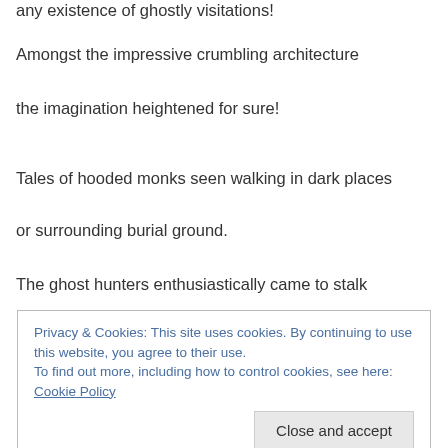any existence of ghostly visitations!
Amongst the impressive crumbling architecture
the imagination heightened for sure!
Tales of hooded monks seen walking in dark places
or surrounding burial ground.
The ghost hunters enthusiastically came to stalk
Privacy & Cookies: This site uses cookies. By continuing to use this website, you agree to their use.
To find out more, including how to control cookies, see here: Cookie Policy
Close and accept